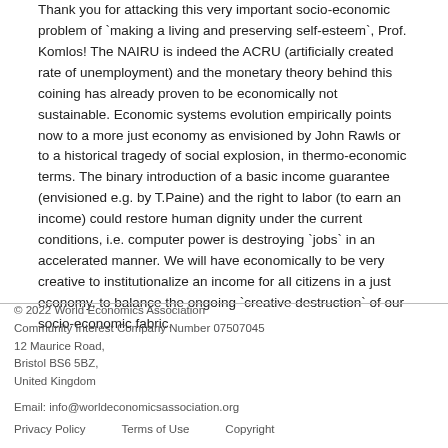Thank you for attacking this very important socio-economic problem of `making a living and preserving self-esteem`, Prof. Komlos! The NAIRU is indeed the ACRU (artificially created rate of unemployment) and the monetary theory behind this coining has already proven to be economically not sustainable. Economic systems evolution empirically points now to a more just economy as envisioned by John Rawls or to a historical tragedy of social explosion, in thermo-economic terms. The binary introduction of a basic income guarantee (envisioned e.g. by T.Paine) and the right to labor (to earn an income) could restore human dignity under the current conditions, i.e. computer power is destroying `jobs` in an accelerated manner. We will have economically to be very creative to institutionalize an income for all citizens in a just economy, to balance the ongoing `creative destruction` of our socio-economic fabric.
© 2022 World Economics Association Community Interest Company Number 07507045 12 Maurice Road, Bristol BS6 5BZ, United Kingdom Email: info@worldeconomicsassociation.org Privacy Policy   Terms of Use   Copyright